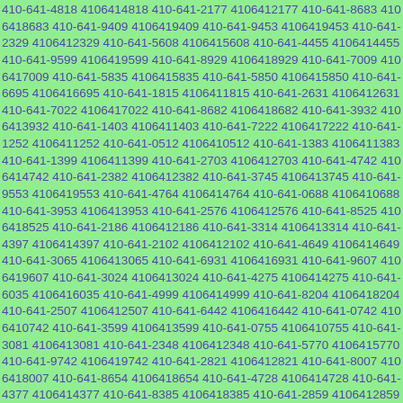410-641-4818 4106414818 410-641-2177 4106412177 410-641-8683 4106418683 410-641-9409 4106419409 410-641-9453 4106419453 410-641-2329 4106412329 410-641-5608 4106415608 410-641-4455 4106414455 410-641-9599 4106419599 410-641-8929 4106418929 410-641-7009 4106417009 410-641-5835 4106415835 410-641-5850 4106415850 410-641-6695 4106416695 410-641-1815 4106411815 410-641-2631 4106412631 410-641-7022 4106417022 410-641-8682 4106418682 410-641-3932 4106413932 410-641-1403 4106411403 410-641-7222 4106417222 410-641-1252 4106411252 410-641-0512 4106410512 410-641-1383 4106411383 410-641-1399 4106411399 410-641-2703 4106412703 410-641-4742 4106414742 410-641-2382 4106412382 410-641-3745 4106413745 410-641-9553 4106419553 410-641-4764 4106414764 410-641-0688 4106410688 410-641-3953 4106413953 410-641-2576 4106412576 410-641-8525 4106418525 410-641-2186 4106412186 410-641-3314 4106413314 410-641-4397 4106414397 410-641-2102 4106412102 410-641-4649 4106414649 410-641-3065 4106413065 410-641-6931 4106416931 410-641-9607 4106419607 410-641-3024 4106413024 410-641-4275 4106414275 410-641-6035 4106416035 410-641-4999 4106414999 410-641-8204 4106418204 410-641-2507 4106412507 410-641-6442 4106416442 410-641-0742 4106410742 410-641-3599 4106413599 410-641-0755 4106410755 410-641-3081 4106413081 410-641-2348 4106412348 410-641-5770 4106415770 410-641-9742 4106419742 410-641-2821 4106412821 410-641-8007 4106418007 410-641-8654 4106418654 410-641-4728 4106414728 410-641-4377 4106414377 410-641-8385 4106418385 410-641-2859 4106412859 410-641-3192 4106413192